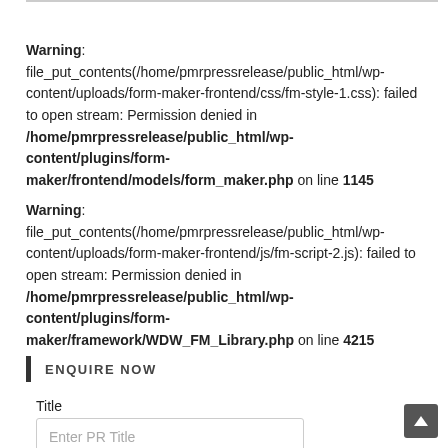Warning: file_put_contents(/home/pmrpressrelease/public_html/wp-content/uploads/form-maker-frontend/css/fm-style-1.css): failed to open stream: Permission denied in /home/pmrpressrelease/public_html/wp-content/plugins/form-maker/frontend/models/form_maker.php on line 1145
Warning: file_put_contents(/home/pmrpressrelease/public_html/wp-content/uploads/form-maker-frontend/js/fm-script-2.js): failed to open stream: Permission denied in /home/pmrpressrelease/public_html/wp-content/plugins/form-maker/framework/WDW_FM_Library.php on line 4215
ENQUIRE NOW
Title
Enter PR Title